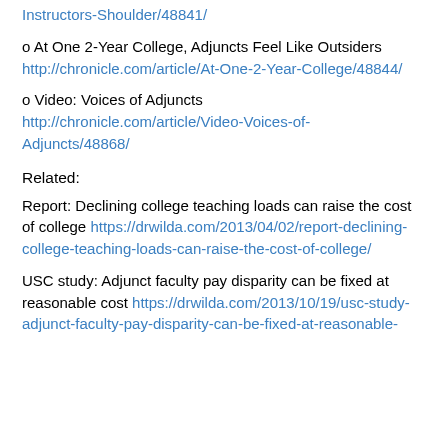o At One 2-Year College, Adjuncts Feel Like Outsiders http://chronicle.com/article/At-One-2-Year-College/48844/
o Video: Voices of Adjuncts http://chronicle.com/article/Video-Voices-of-Adjuncts/48868/
Related:
Report: Declining college teaching loads can raise the cost of college https://drwilda.com/2013/04/02/report-declining-college-teaching-loads-can-raise-the-cost-of-college/
USC study: Adjunct faculty pay disparity can be fixed at reasonable cost https://drwilda.com/2013/10/19/usc-study-adjunct-faculty-pay-disparity-can-be-fixed-at-reasonable-cost/